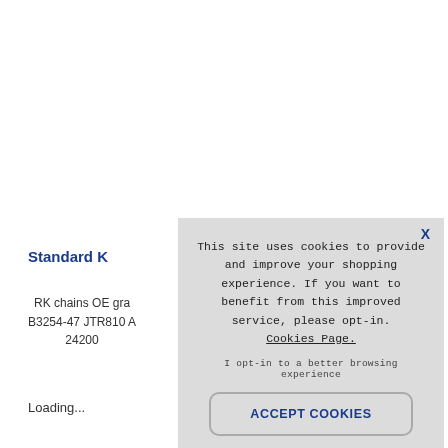Standard K
RK chains OE gra B3254-47 JTR810 A 24200
Loading...
This site uses cookies to provide and improve your shopping experience. If you want to benefit from this improved service, please opt-in. Cookies Page.

I opt-in to a better browsing experience

ACCEPT COOKIES